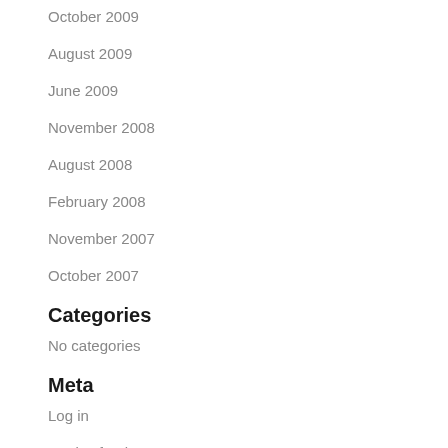October 2009
August 2009
June 2009
November 2008
August 2008
February 2008
November 2007
October 2007
Categories
No categories
Meta
Log in
Entries feed